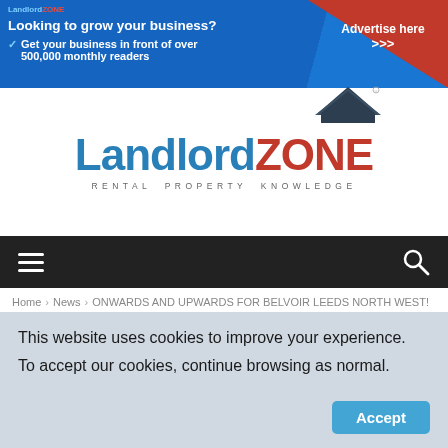[Figure (screenshot): LandlordZone advertisement banner: Looking to grow your business? Get your business in front of over 500,000 monthly readers. Advertise here >>>]
[Figure (logo): LandlordZone logo with house icon above. Text: Landlord in blue, ZONE in red. Tagline: RENTAL PROPERTY KNOWLEDGE]
[Figure (screenshot): Navigation bar with hamburger menu icon on left and search icon on right, black background]
Home › News › ONWARDS AND UPWARDS FOR BELVOIR LEEDS NORTH WEST!
[Figure (photo): Partial photo strip showing grey/blue toned image]
This website uses cookies to improve your experience. To accept our cookies, continue browsing as normal.